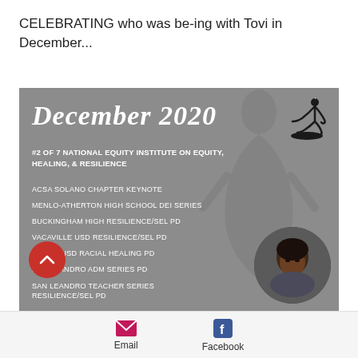CELEBRATING who was be-ing with Tovi in December...
[Figure (infographic): Gray promotional card for December 2020 with white text listing speaking engagements: #2 of 7 National Equity Institute on Equity, Healing, & Resilience; ACSA Solano Chapter Keynote; Menlo-Atherton High School DEI Series; Buckingham High Resilience/SEL PD; Vacaville USD Resilience/SEL PD; Travis USD Racial Healing PD; San Leandro ADM Series PD; San Leandro Teacher Series Resilience/SEL PD. A circular headshot photo in lower right and a yoga silhouette icon in upper right. Website www.ticiess.com at bottom.]
Email  Facebook